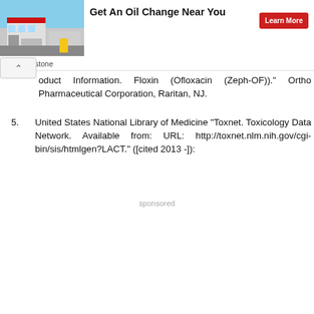[Figure (other): Advertisement banner: Firestone auto care shop photo with text 'Get An Oil Change Near You' and a red 'Learn More' button]
oduct Information. Floxin (Ofloxacin (Zeph-OF))." Ortho Pharmaceutical Corporation, Raritan, NJ.
5. United States National Library of Medicine "Toxnet. Toxicology Data Network. Available from: URL: http://toxnet.nlm.nih.gov/cgi-bin/sis/htmlgen?LACT." ([cited 2013 -]):
sponsored